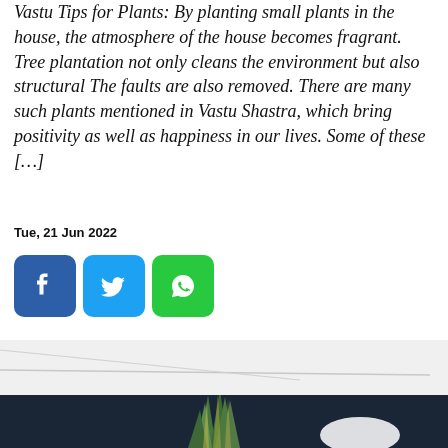Vastu Tips for Plants: By planting small plants in the house, the atmosphere of the house becomes fragrant. Tree plantation not only cleans the environment but also structural The faults are also removed. There are many such plants mentioned in Vastu Shastra, which bring positivity as well as happiness in our lives. Some of these […]
Tue, 21 Jun 2022
[Figure (other): Social media share buttons: Facebook (blue), Twitter (light blue), WhatsApp (green)]
[Figure (photo): Photo of a snake plant (Sansevieria) with green and yellow striped leaves against a dark navy blue background, with a white object partially visible. A red scroll-to-top button with double chevron up arrows overlays the bottom right corner.]